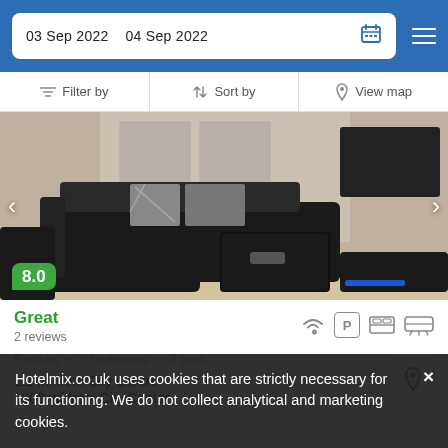03 Sep 2022  04 Sep 2022
Filter by   Sort by   View map
[Figure (photo): Interior of an apartment living room with a large black leather L-shaped sofa, patterned cushions, a black ottoman coffee table, light wood floor, framed artwork on wall, and a wall-mounted TV.]
Great
2 reviews
5 adults • 2 bedrooms • 3 beds
1.1 mi from City Centre
1800 yd from City Center
Hotelmix.co.uk uses cookies that are strictly necessary for its functioning. We do not collect analytical and marketing cookies.